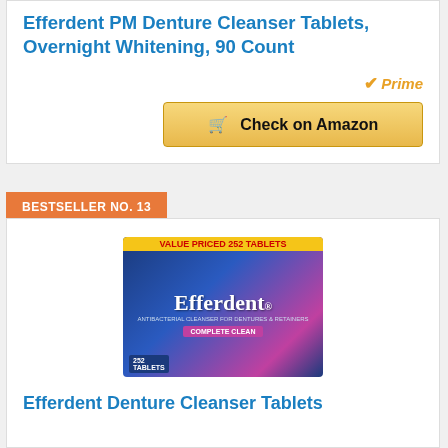Efferdent PM Denture Cleanser Tablets, Overnight Whitening, 90 Count
[Figure (other): Amazon Prime badge with orange checkmark and italic Prime text]
[Figure (other): Check on Amazon button with shopping cart icon, gold/yellow gradient background]
BESTSELLER NO. 13
[Figure (photo): Efferdent Denture Cleanser Tablets product box - 252 tablets, Complete Clean, blue and pink packaging with VALUE PRICED banner]
Efferdent Denture Cleanser Tablets